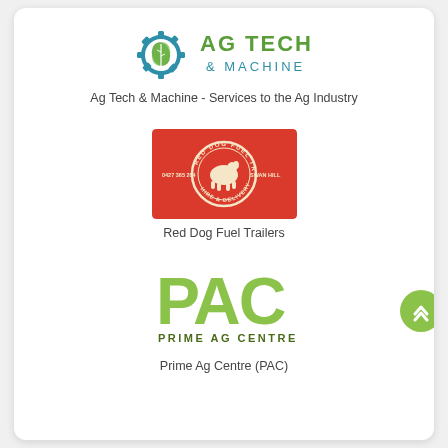[Figure (logo): Ag Tech & Machine logo — gear with leaf icon in blue/teal, text 'AG TECH & MACHINE' in green]
Ag Tech & Machine - Services to the Ag Industry
[Figure (logo): Red Dog Fuel Trailers logo — red rectangle badge with dog silhouette, phone number 0427 365 204, Swan Hill text]
Red Dog Fuel Trailers
[Figure (logo): Prime Ag Centre (PAC) logo — large green PAC letters above 'PRIME AG CENTRE' text in dark green]
Prime Ag Centre (PAC)